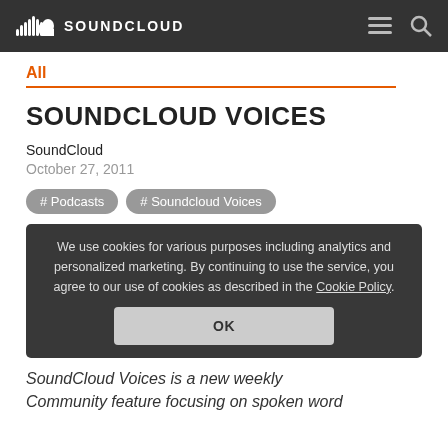SOUNDCLOUD
All
SOUNDCLOUD VOICES
SoundCloud
October 27, 2011
# Podcasts
# Soundcloud Voices
We use cookies for various purposes including analytics and personalized marketing. By continuing to use the service, you agree to our use of cookies as described in the Cookie Policy.
OK
SoundCloud Voices is a new weekly Community feature focusing on spoken word